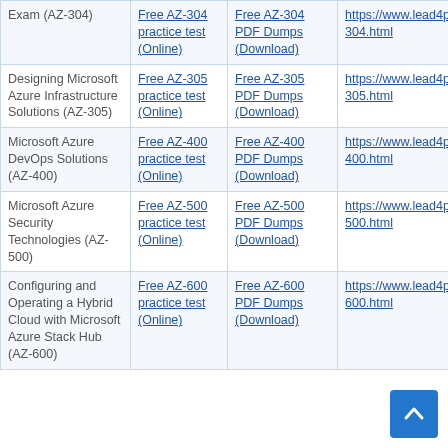| Exam Name | Practice Test (Online) | PDF Dumps (Download) | URL |
| --- | --- | --- | --- |
| Exam (AZ-304) | Free AZ-304 practice test (Online) | Free AZ-304 PDF Dumps (Download) | https://www.lead4pass.com/az-304.html |
| Designing Microsoft Azure Infrastructure Solutions (AZ-305) | Free AZ-305 practice test (Online) | Free AZ-305 PDF Dumps (Download) | https://www.lead4pass.com/az-305.html |
| Microsoft Azure DevOps Solutions (AZ-400) | Free AZ-400 practice test (Online) | Free AZ-400 PDF Dumps (Download) | https://www.lead4pass.com/az-400.html |
| Microsoft Azure Security Technologies (AZ-500) | Free AZ-500 practice test (Online) | Free AZ-500 PDF Dumps (Download) | https://www.lead4pass.com/az-500.html |
| Configuring and Operating a Hybrid Cloud with Microsoft Azure Stack Hub (AZ-600) | Free AZ-600 practice test (Online) | Free AZ-600 PDF Dumps (Download) | https://www.lead4pass.com/az-600.html |